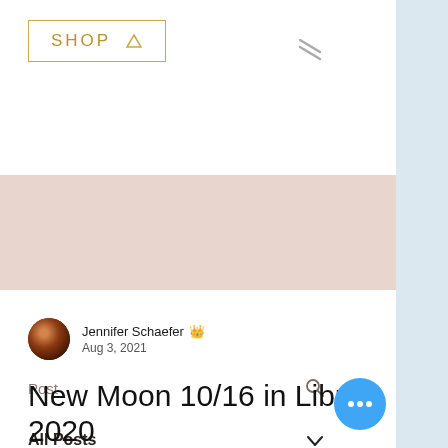SHOP
Post
All Posts
Jennifer Schaefer  Admin
Aug 3, 2021
New Moon 10/16 in Libra 2020
The New Moon in Libra occurs Friday October 16th at 12:32 PM PDT. This is quite a loaded month, with two Full M... and plenty of planetary action happening at